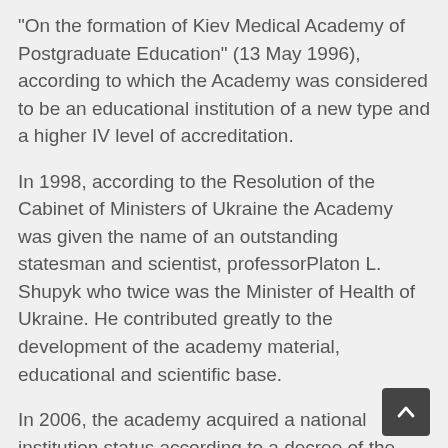“On the formation of Kiev Medical Academy of Postgraduate Education” (13 May 1996), according to which the Academy was considered to be an educational institution of a new type and a higher IV level of accreditation.
In 1998, according to the Resolution of the Cabinet of Ministers of Ukraine the Academy was given the name of an outstanding statesman and scientist, professorPlaton L. Shupyk who twice was the Minister of Health of Ukraine. He contributed greatly to the development of the academy material, educational and scientific base.
In 2006, the academy acquired a national institution status according to a decree of the president of Ukraine.
University Today
Through its existence the NMAPE has become a leading institution of postgraduate medical education as well as a great research centre with 6 faculties of general practice /family medicine, surgery, therapy, pediatrics, medico-